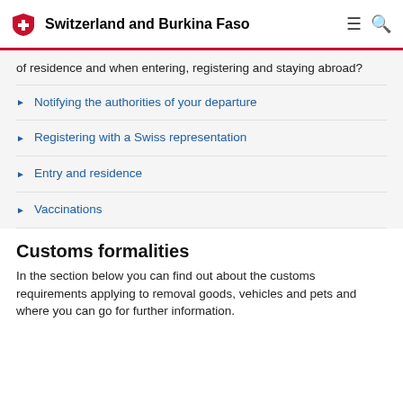Switzerland and Burkina Faso
of residence and when entering, registering and staying abroad?
Notifying the authorities of your departure
Registering with a Swiss representation
Entry and residence
Vaccinations
Customs formalities
In the section below you can find out about the customs requirements applying to removal goods, vehicles and pets and where you can go for further information.